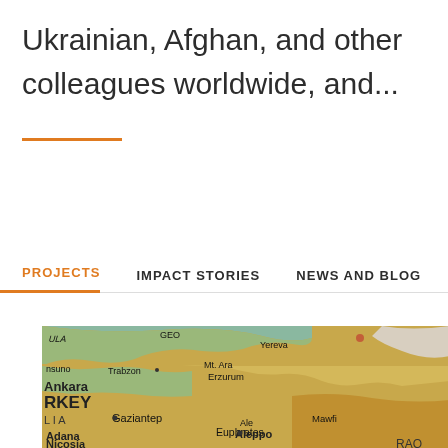Ukrainian, Afghan, and other colleagues worldwide, and...
[Figure (map): A close-up photograph of a physical globe/map showing Turkey and surrounding regions including Ankara, Trabzon, Yerevan, Erzurum, Gaziantep, Adana, Nicosia, Aleppo, and parts of Georgia, Armenia, Iraq. The map shows warm orange/yellow tones for land areas.]